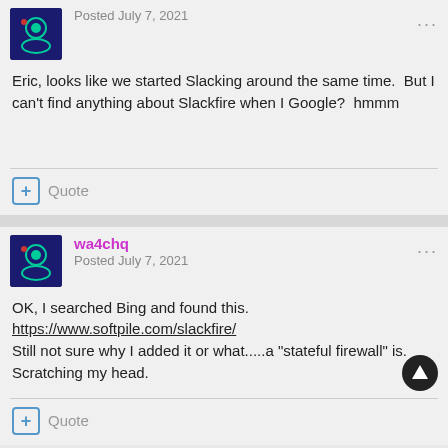Posted July 7, 2021
Eric, looks like we started Slacking around the same time.  But I can't find anything about Slackfire when I Google?  hmmm
+ Quote
wa4chq
Posted July 7, 2021
OK, I searched Bing and found this.
https://www.softpile.com/slackfire/
Still not sure why I added it or what.....a "stateful firewall" is.  Scratching my head.
+ Quote